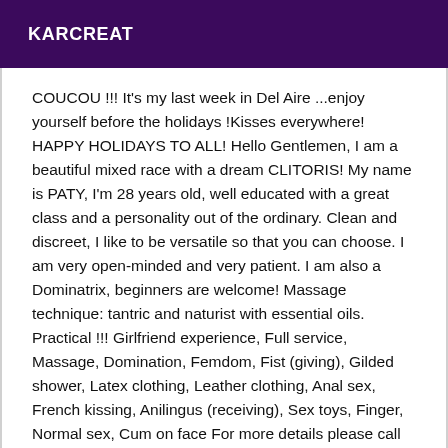KARCREAT
COUCOU !!! It's my last week in Del Aire ...enjoy yourself before the holidays !Kisses everywhere! HAPPY HOLIDAYS TO ALL! Hello Gentlemen, I am a beautiful mixed race with a dream CLITORIS! My name is PATY, I'm 28 years old, well educated with a great class and a personality out of the ordinary. Clean and discreet, I like to be versatile so that you can choose. I am very open-minded and very patient. I am also a Dominatrix, beginners are welcome! Massage technique: tantric and naturist with essential oils. Practical !!! Girlfriend experience, Full service, Massage, Domination, Femdom, Fist (giving), Gilded shower, Latex clothing, Leather clothing, Anal sex, French kissing, Anilingus (receiving), Sex toys, Finger, Normal sex, Cum on face For more details please call me, SUCCESSFUL UPDATE Ethnicity: Black Eye Color: brown Hair: black Chest: 100D natural Hours: 08:30hs to 20hs Meeting